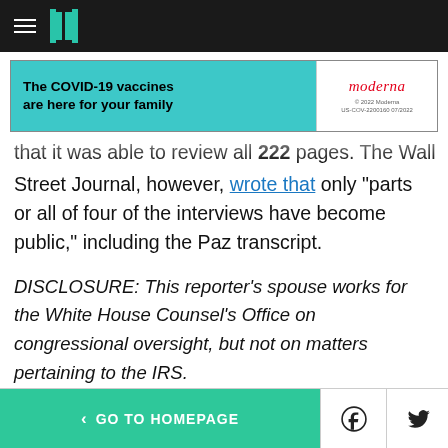HuffPost navigation header with hamburger menu and logo
[Figure (other): Moderna COVID-19 vaccine advertisement banner: 'The COVID-19 vaccines are here for your family' with teal background and Moderna logo]
that it was able to review all 222 pages. The Wall Street Journal, however, wrote that only "parts or all of four of the interviews have become public," including the Paz transcript.
DISCLOSURE: This reporter's spouse works for the White House Counsel's Office on congressional oversight, but not on matters pertaining to the IRS.
RELATED
< GO TO HOMEPAGE  [Facebook] [Twitter] [X]